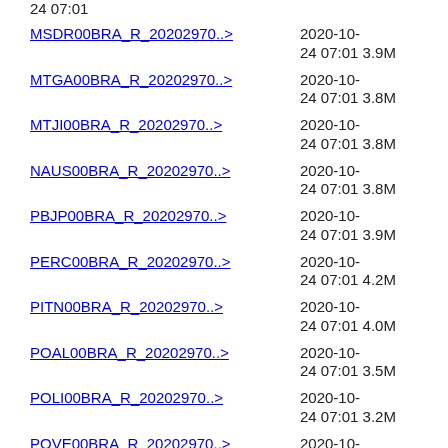24 07:01 (partial, top of page)
MSDR00BRA_R_20202970..> 2020-10-24 07:01 3.9M
MTGA00BRA_R_20202970..> 2020-10-24 07:01 3.8M
MTJI00BRA_R_20202970..> 2020-10-24 07:01 3.8M
NAUS00BRA_R_20202970..> 2020-10-24 07:01 3.8M
PBJP00BRA_R_20202970..> 2020-10-24 07:01 3.9M
PERC00BRA_R_20202970..> 2020-10-24 07:01 4.2M
PITN00BRA_R_20202970..> 2020-10-24 07:01 4.0M
POAL00BRA_R_20202970..> 2020-10-24 07:01 3.5M
POLI00BRA_R_20202970..> 2020-10-24 07:01 3.2M
POVE00BRA_R_20202970..> 2020-10-24 07:01 4.2M
PPTE00BRA_R_20202970..> 2020-10-24 07:01 3.5M